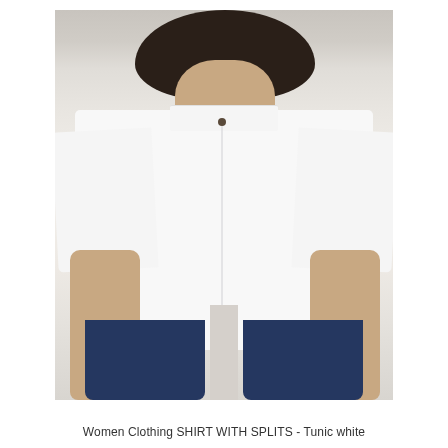[Figure (photo): A woman wearing a white oversized short-sleeve shirt with splits, styled with dark navy wide-leg jeans. The photo is cropped from just above the head to mid-calf level, against a light neutral background.]
Women Clothing SHIRT WITH SPLITS - Tunic white